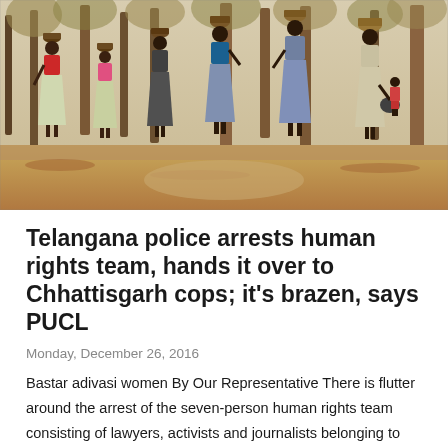[Figure (photo): Bastar adivasi women walking in a dry forest path, carrying baskets on their heads, wearing colorful traditional clothes]
Telangana police arrests human rights team, hands it over to Chhattisgarh cops; it's brazen, says PUCL
Monday, December 26, 2016
Bastar adivasi women By Our Representative There is flutter around the arrest of the seven-person human rights team consisting of lawyers, activists and journalists belonging to the